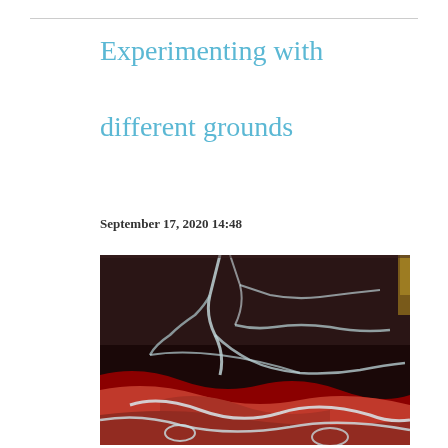Experimenting with different grounds
September 17, 2020 14:48
[Figure (photo): Abstract fluid art painting on a dark background with swirling patterns of white, red, and black colors resembling flowing liquid or marble texture.]